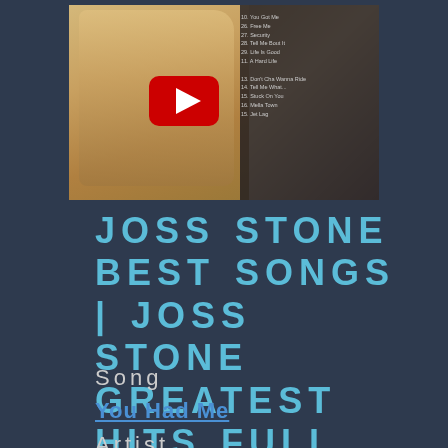[Figure (screenshot): YouTube video thumbnail showing a woman with blonde hair and a YouTube play button overlay, with a tracklist visible on the right side]
JOSS STONE BEST SONGS | JOSS STONE GREATEST HITS FULL ALBUM LIVE 2017
Song
You Had Me
Artist